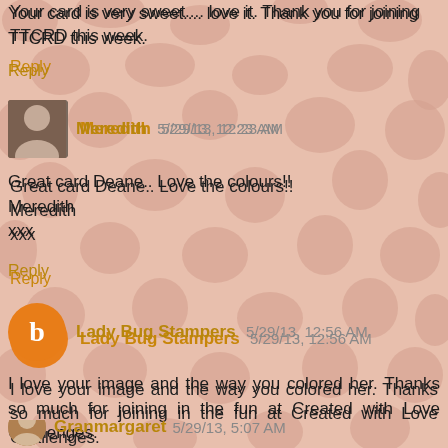Your card is very sweet.... love it. Thank you for joining TTCRD this week.
Reply
Meredith 5/29/13, 12:23 AM
Great card Deane.. Love the colours!! Meredith xxx
Reply
Lady Bug Stampers 5/29/13, 12:56 AM
I love your image and the way you colored her. Thanks so much for joining in the fun at Created with Love Challenges. Linda K. DT
Reply
Granmargaret 5/29/13, 5:07 AM